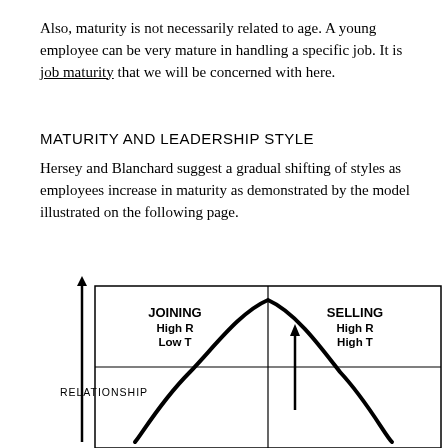Also, maturity is not necessarily related to age. A young employee can be very mature in handling a specific job. It is job maturity that we will be concerned with here.
MATURITY AND LEADERSHIP STYLE
Hersey and Blanchard suggest a gradual shifting of styles as employees increase in maturity as demonstrated by the model illustrated on the following page.
[Figure (continuous-plot): Hersey-Blanchard situational leadership model diagram showing a bell curve overlaid on a 2x2 grid. The Y-axis is labeled RELATIONSHIP. The upper-left quadrant shows JOINING High R Low T. The upper-right quadrant shows SELLING High R High T. An arrow points upward in the right quadrant area. The curve peaks near the center top of the grid.]